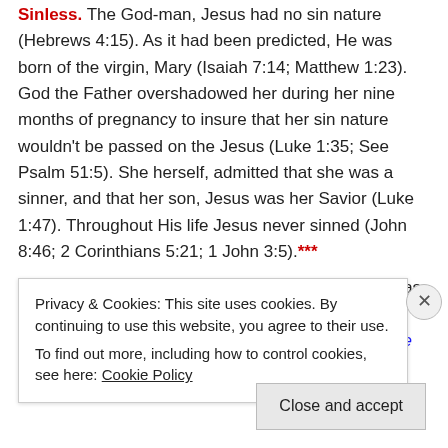Sinless. The God-man, Jesus had no sin nature (Hebrews 4:15). As it had been predicted, He was born of the virgin, Mary (Isaiah 7:14; Matthew 1:23). God the Father overshadowed her during her nine months of pregnancy to insure that her sin nature wouldn't be passed on the Jesus (Luke 1:35; See Psalm 51:5). She herself, admitted that she was a sinner, and that her son, Jesus was her Savior (Luke 1:47). Throughout His life Jesus never sinned (John 8:46; 2 Corinthians 5:21; 1 John 3:5).***
Substitute. Only a sinless One could offer Himself as our substitute and die for our sins. "For Christ also suffered once for sins, the just for the unjust, that He might bring us to God, being
Privacy & Cookies: This site uses cookies. By continuing to use this website, you agree to their use.
To find out more, including how to control cookies, see here: Cookie Policy